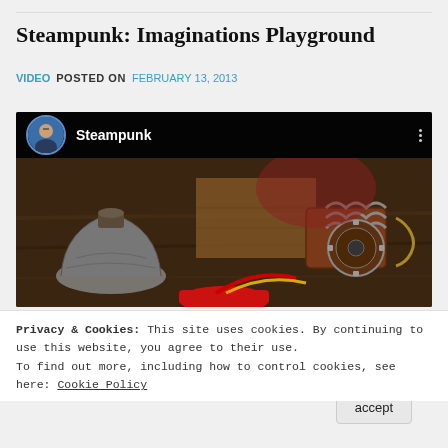Steampunk: Imaginations Playground
VIDEO   POSTED ON FEBRUARY 13, 2013
[Figure (screenshot): Video thumbnail showing a steampunk scene with mechanical parts, gears, springs, and vintage objects on a wooden surface. Video player interface with channel avatar and 'Steampunk' channel name.]
Privacy & Cookies: This site uses cookies. By continuing to use this website, you agree to their use.
To find out more, including how to control cookies, see here: Cookie Policy
Close and accept